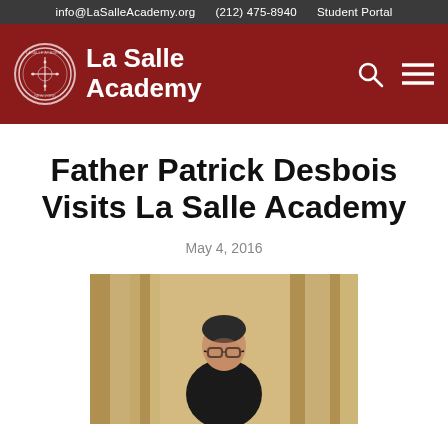info@LaSalleAcademy.org   (212) 475-8940   Student Portal
[Figure (logo): La Salle Academy logo and red header banner with school crest, search icon, and hamburger menu]
Father Patrick Desbois Visits La Salle Academy
May 4, 2016
[Figure (photo): Photo of Father Patrick Desbois speaking at a podium in front of a golden curtain backdrop, wearing glasses]